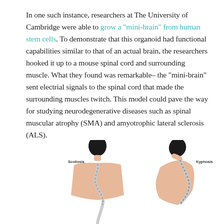In one such instance, researchers at The University of Cambridge were able to grow a "mini-brain" from human stem cells. To demonstrate that this organoid had functional capabilities similar to that of an actual brain, the researchers hooked it up to a mouse spinal cord and surrounding muscle. What they found was remarkable– the "mini-brain" sent electrial signals to the spinal cord that made the surrounding muscles twitch. This model could pave the way for studying neurodegenerative diseases such as spinal muscular atrophy (SMA) and amyotrophic lateral sclerosis (ALS).
[Figure (illustration): Medical illustration showing two spine conditions side by side: on the left, a figure viewed from behind showing Scoliosis (lateral curvature of the spine), and on the right, a figure viewed from the side showing Kyphosis (forward rounding of the upper back). Both figures show the upper torso and spine with the vertebrae visible.]